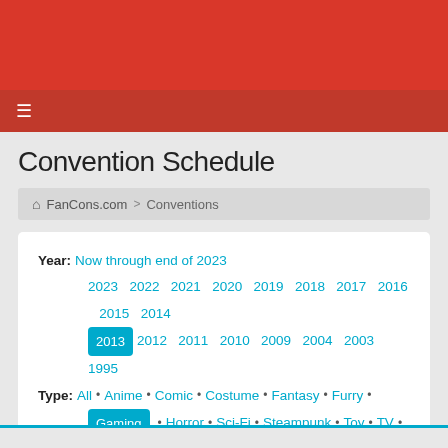Convention Schedule
FanCons.com > Conventions
Year: Now through end of 2023 2023 2022 2021 2020 2019 2018 2017 2016 2015 2014 2013 2012 2011 2010 2009 2004 2003 1995 Type: All • Anime • Comic • Costume • Fantasy • Furry • Gaming • Horror • Sci-Fi • Steampunk • Toy • TV • Video Gaming Location: Anywhere • North America • USA • Canada • Europe • UK / Ireland • Asia • Oceania Provinces: AB • BC • NB • NS • ON